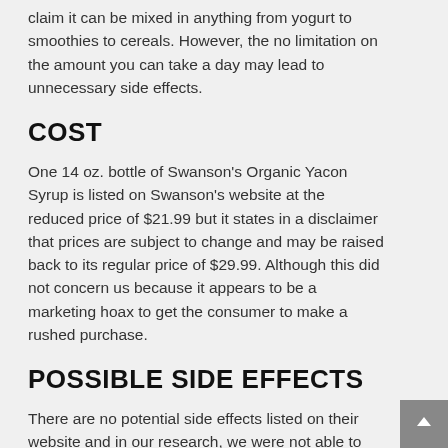claim it can be mixed in anything from yogurt to smoothies to cereals. However, the no limitation on the amount you can take a day may lead to unnecessary side effects.
COST
One 14 oz. bottle of Swanson's Organic Yacon Syrup is listed on Swanson's website at the reduced price of $21.99 but it states in a disclaimer that prices are subject to change and may be raised back to its regular price of $29.99. Although this did not concern us because it appears to be a marketing hoax to get the consumer to make a rushed purchase.
POSSIBLE SIDE EFFECTS
There are no potential side effects listed on their website and in our research, we were not able to find elsewhere. However, we were also unable to